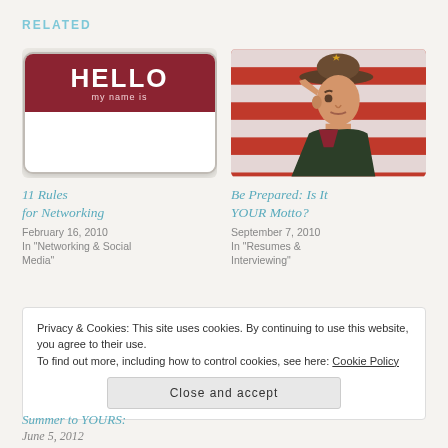RELATED
[Figure (photo): Hello my name is nametag badge with red top and white bottom]
11 Rules for Networking
February 16, 2010
In "Networking & Social Media"
[Figure (photo): Boy scout saluting in front of red and white flag]
Be Prepared: Is It YOUR Motto?
September 7, 2010
In "Resumes & Interviewing"
Privacy & Cookies: This site uses cookies. By continuing to use this website, you agree to their use.
To find out more, including how to control cookies, see here: Cookie Policy
Close and accept
Summer to YOURS:
June 5, 2012